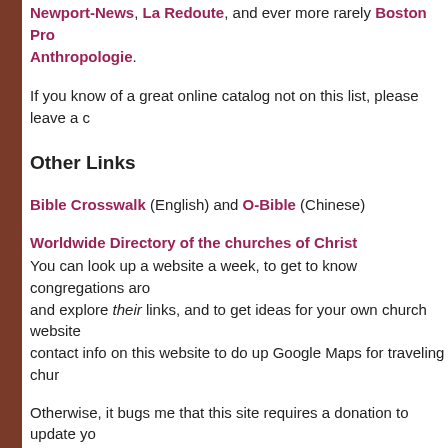Newport-News, La Redoute, and ever more rarely Boston Pro… Anthropologie.
If you know of a great online catalog not on this list, please leave a c…
Other Links
Bible Crosswalk (English) and O-Bible (Chinese)
Worldwide Directory of the churches of Christ
You can look up a website a week, to get to know congregations aro… and explore their links, and to get ideas for your own church website… contact info on this website to do up Google Maps for traveling chur…
Otherwise, it bugs me that this site requires a donation to update yo… They used to be free, and then when I went to update our church in… ran into the donation requirement, I was without a credit card for a f… couldn't update our info.
This is an age of free blogs, free Wikipedia and free Google Maps. N… have access to a credit card, I'd still rather just spend the time to do… church blog (still in pre-production), or a free Google Maps listing, o… free Wikipedia. I suspect that eventually all the churches on that we… done up that way.